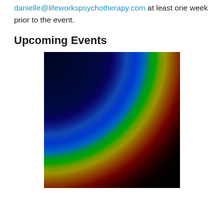danielle@lifeworkspsychotherapy.com at least one week prior to the event.
Upcoming Events
[Figure (photo): A rainbow arc over a black background. The rainbow shows vivid spectral colors — red on the outer edge, then yellow, green, and blue on the inner edge — curving from the upper-left to the lower-right of the image.]